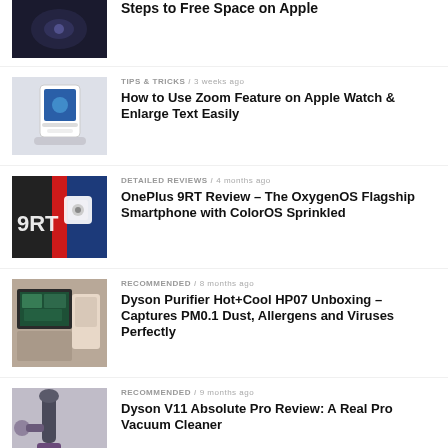[Figure (photo): Dark abstract Apple product image thumbnail]
Steps to Free Space on Apple
[Figure (photo): Apple Watch on charging stand thumbnail]
TIPS & TRICKS / 3 weeks ago
How to Use Zoom Feature on Apple Watch & Enlarge Text Easily
[Figure (photo): OnePlus 9RT smartphone on red background thumbnail]
DETAILED REVIEWS / 4 months ago
OnePlus 9RT Review – The OxygenOS Flagship Smartphone with ColorOS Sprinkled
[Figure (photo): Dyson Purifier Hot+Cool HP07 product display thumbnail]
RECOMMENDED / 8 months ago
Dyson Purifier Hot+Cool HP07 Unboxing – Captures PM0.1 Dust, Allergens and Viruses Perfectly
[Figure (photo): Dyson V11 vacuum cleaner thumbnail]
RECOMMENDED / 9 months ago
Dyson V11 Absolute Pro Review: A Real Pro Vacuum Cleaner
[Figure (photo): Unboxing article thumbnail]
UNBOXING / 9 months ago